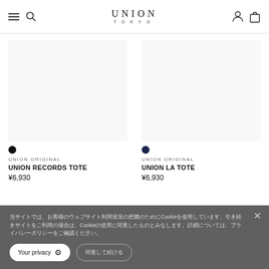UNION TOKYO — navigation header with hamburger menu, search, logo, account and cart icons
[Figure (photo): Product image placeholder for UNION RECORDS TOTE (blank/white product photo area)]
UNION ORIGINAL
UNION RECORDS TOTE
¥6,930
[Figure (photo): Product image placeholder for UNION LA TOTE (blank/white product photo area)]
UNION ORIGINAL
UNION LA TOTE
¥6,930
当サイトでは、お客様のウェブサイト利用状況の把握のためにCookieを使用しています。引き続きサイトをご利用の場合は、Cookieの使用に同意したものとみなします。詳細については、プライバシーポリシーをご確認ください。
Your privacy ⚙  同意して続ける